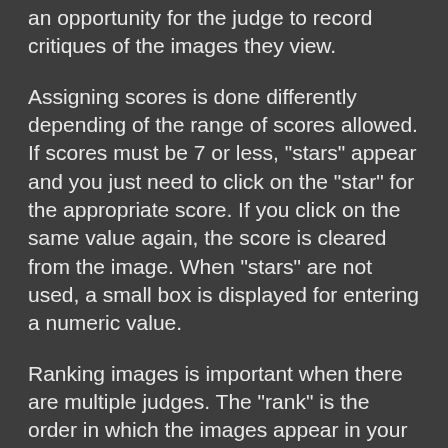an opportunity for the judge to record critiques of the images they view.
Assigning scores is done differently depending of the range of scores allowed. If scores must be 7 or less, "stars" appear and you just need to click on the "star" for the appropriate score. If you click on the same value again, the score is cleared from the image. When "stars" are not used, a small box is displayed for entering a numeric value.
Ranking images is important when there are multiple judges. The "rank" is the order in which the images appear in your thumbnail view. A computed ranking is calculated from all of the judges rankings when the judges have finished their scoring. The computed rankings can help resolve ties. Using a larger range of scores, such as 1 to 7 (which allows the use of "stars") or 1 to 10 or higher, allows